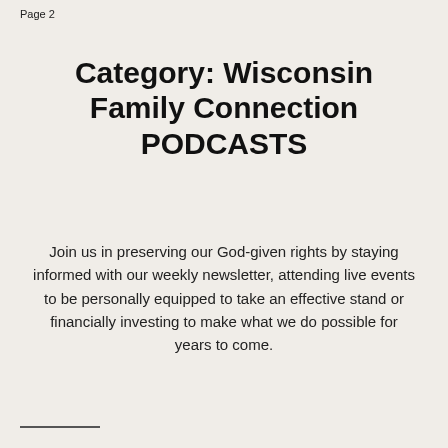Page 2
Category: Wisconsin Family Connection PODCASTS
Join us in preserving our God-given rights by staying informed with our weekly newsletter, attending live events to be personally equipped to take an effective stand or financially investing to make what we do possible for years to come.
___